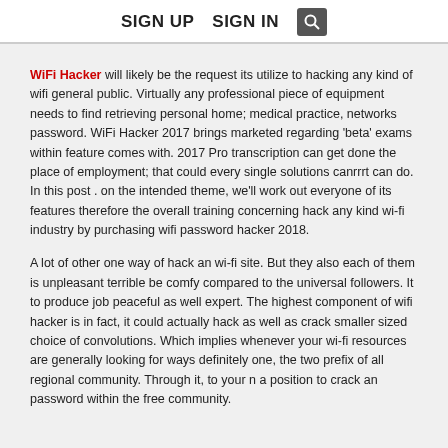SIGN UP   SIGN IN   [search icon]
WiFi Hacker will likely be the request its utilize to hacking any kind of wifi general public. Virtually any professional piece of equipment needs to find retrieving personal home; medical practice, networks password. WiFi Hacker 2017 brings marketed regarding 'beta' exams within feature comes with. 2017 Pro transcription can get done the place of employment; that could every single solutions canrrrt can do. In this post . on the intended theme, we'll work out everyone of its features therefore the overall training concerning hack any kind wi-fi industry by purchasing wifi password hacker 2018.
A lot of other one way of hack an wi-fi site. But they also each of them is unpleasant terrible be comfy compared to the universal followers. It to produce job peaceful as well expert. The highest component of wifi hacker is in fact, it could actually hack as well as crack smaller sized choice of convolutions. Which implies whenever your wi-fi resources are generally looking for ways definitely one, the two prefix of all regional community. Through it, to your n a position to crack an password within the free community.